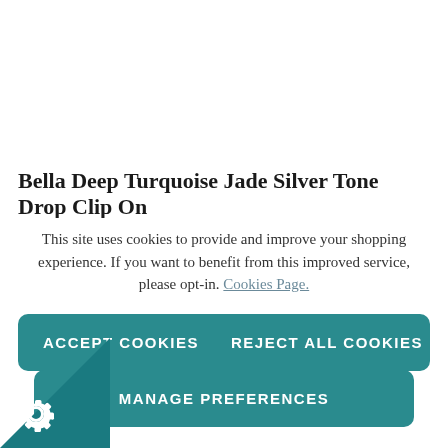Bella Deep Turquoise Jade Silver Tone Drop Clip On
This site uses cookies to provide and improve your shopping experience. If you want to benefit from this improved service, please opt-in. Cookies Page.
ACCEPT COOKIES
REJECT ALL COOKIES
MANAGE PREFERENCES